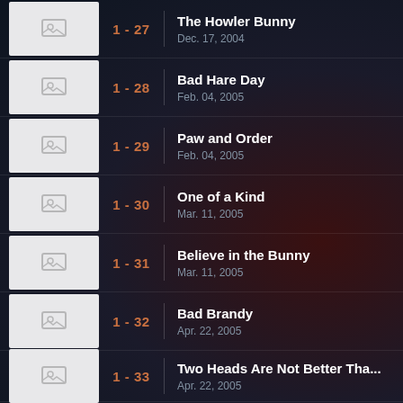1 - 27 | The Howler Bunny | Dec. 17, 2004
1 - 28 | Bad Hare Day | Feb. 04, 2005
1 - 29 | Paw and Order | Feb. 04, 2005
1 - 30 | One of a Kind | Mar. 11, 2005
1 - 31 | Believe in the Bunny | Mar. 11, 2005
1 - 32 | Bad Brandy | Apr. 22, 2005
1 - 33 | Two Heads Are Not Better Tha... | Apr. 22, 2005